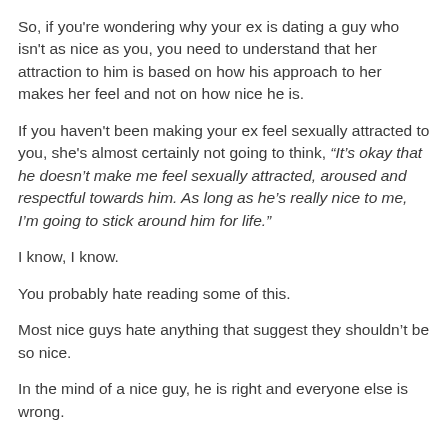So, if you're wondering why your ex is dating a guy who isn't as nice as you, you need to understand that her attraction to him is based on how his approach to her makes her feel and not on how nice he is.
If you haven't been making your ex feel sexually attracted to you, she's almost certainly not going to think, “It’s okay that he doesn’t make me feel sexually attracted, aroused and respectful towards him. As long as he’s really nice to me, I’m going to stick around him for life.”
I know, I know.
You probably hate reading some of this.
Most nice guys hate anything that suggest they shouldn’t be so nice.
In the mind of a nice guy, he is right and everyone else is wrong.